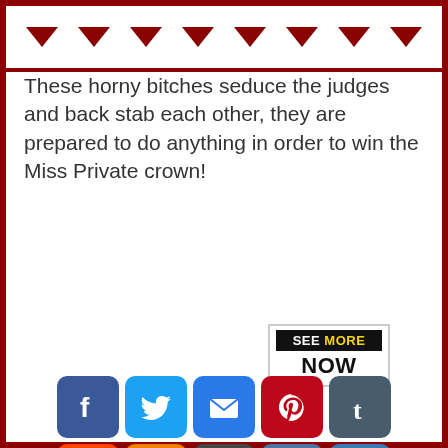▼ ▼ ▼ ▼ ▼ ▼ ▼ ▼
These horny bitches seduce the judges and back stab each other, they are prepared to do anything in order to win the Miss Private crown!
[Figure (infographic): SEE MORE NOW button with black background and yellow/white text]
[Figure (infographic): Social sharing icons: Facebook, Twitter, Email, Pinterest, Tumblr, Reddit, Blogger, WordPress, VK, More]